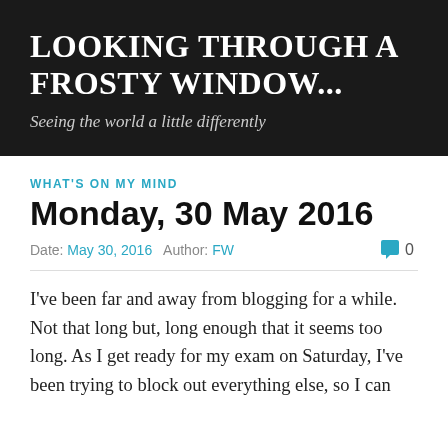LOOKING THROUGH A FROSTY WINDOW...
Seeing the world a little differently
WHAT'S ON MY MIND
Monday, 30 May 2016
Date: May 30, 2016   Author: FW   💬 0
I've been far and away from blogging for a while. Not that long but, long enough that it seems too long. As I get ready for my exam on Saturday, I've been trying to block out everything else, so I can